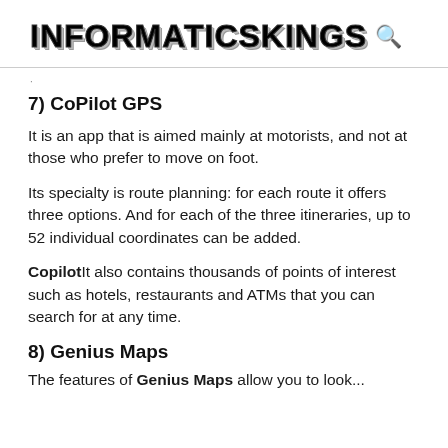INFORMATICSKINGS 🔍
7) CoPilot GPS
It is an app that is aimed mainly at motorists, and not at those who prefer to move on foot.
Its specialty is route planning: for each route it offers three options. And for each of the three itineraries, up to 52 individual coordinates can be added.
CopilotIt also contains thousands of points of interest such as hotels, restaurants and ATMs that you can search for at any time.
8) Genius Maps
The features of Genius Maps allow you to look...